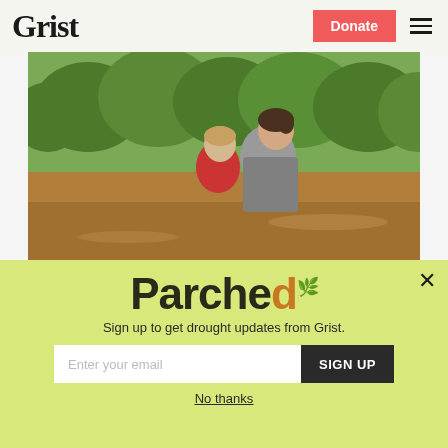Grist | Donate
[Figure (photo): Woman holding a young child, standing near a flooded brown river with green trees in the background — Kentucky flood scene.]
How Kentuckians want to hold coal
Parched
Sign up to get drought updates from Grist.
Enter your email
SIGN UP
No thanks